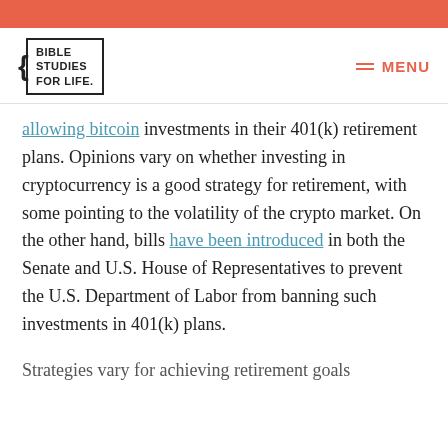Bible Studies For Life — MENU (header bar)
allowing bitcoin investments in their 401(k) retirement plans. Opinions vary on whether investing in cryptocurrency is a good strategy for retirement, with some pointing to the volatility of the crypto market. On the other hand, bills have been introduced in both the Senate and U.S. House of Representatives to prevent the U.S. Department of Labor from banning such investments in 401(k) plans.
Strategies vary for achieving retirement goals